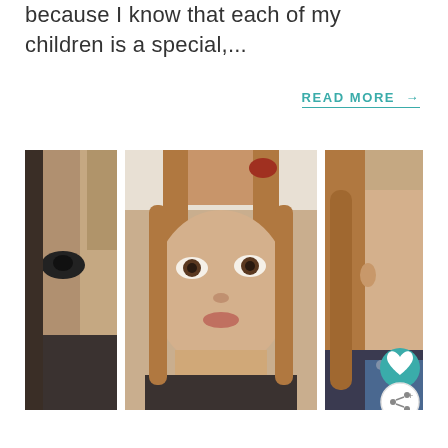because I know that each of my children is a special,...
READ MORE →
[Figure (photo): Three-panel photo collage showing a young girl with braided hair from three different angles/distances, wearing a dark top. The center panel shows her face most clearly with brown eyes looking slightly upward.]